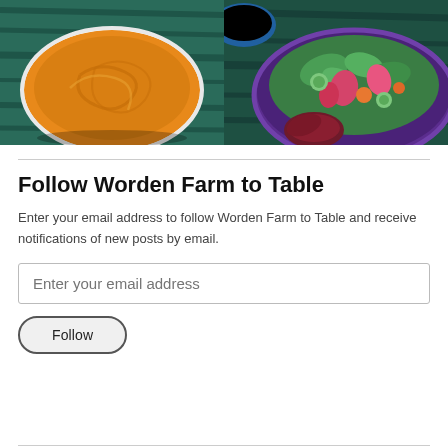[Figure (photo): Two food photos side by side: left shows an orange pureed soup or hummus in a white bowl on a dark wood surface; right shows a colorful salad with greens, radishes, and vegetables in a purple bowl on a dark green wood surface.]
Follow Worden Farm to Table
Enter your email address to follow Worden Farm to Table and receive notifications of new posts by email.
Enter your email address
Follow